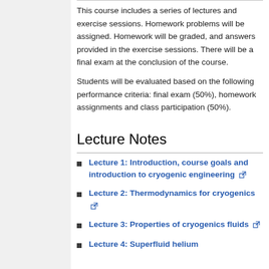This course includes a series of lectures and exercise sessions. Homework problems will be assigned. Homework will be graded, and answers provided in the exercise sessions. There will be a final exam at the conclusion of the course.
Students will be evaluated based on the following performance criteria: final exam (50%), homework assignments and class participation (50%).
Lecture Notes
Lecture 1: Introduction, course goals and introduction to cryogenic engineering
Lecture 2: Thermodynamics for cryogenics
Lecture 3: Properties of cryogenics fluids
Lecture 4: Superfluid helium